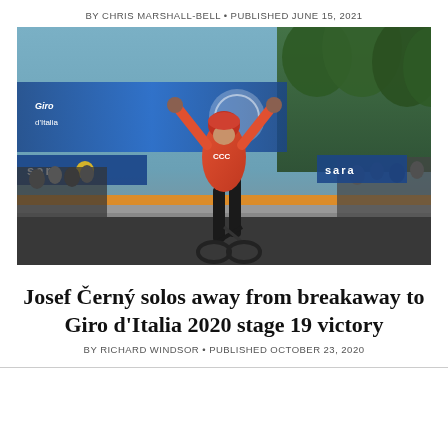BY CHRIS MARSHALL-BELL • PUBLISHED JUNE 15, 2021
[Figure (photo): A cyclist wearing an orange CCC team jersey and red helmet celebrating a stage victory with both arms raised, crossing the finish line at what appears to be a Giro d'Italia stage finish, with blue sponsor banners and crowd visible in the background.]
Josef Černý solos away from breakaway to Giro d'Italia 2020 stage 19 victory
BY RICHARD WINDSOR • PUBLISHED OCTOBER 23, 2020